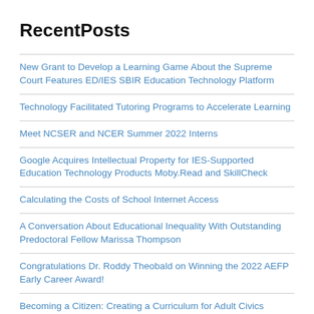RecentPosts
New Grant to Develop a Learning Game About the Supreme Court Features ED/IES SBIR Education Technology Platform
Technology Facilitated Tutoring Programs to Accelerate Learning
Meet NCSER and NCER Summer 2022 Interns
Google Acquires Intellectual Property for IES-Supported Education Technology Products Moby.Read and SkillCheck
Calculating the Costs of School Internet Access
A Conversation About Educational Inequality With Outstanding Predoctoral Fellow Marissa Thompson
Congratulations Dr. Roddy Theobald on Winning the 2022 AEFP Early Career Award!
Becoming a Citizen: Creating a Curriculum for Adult Civics Courses